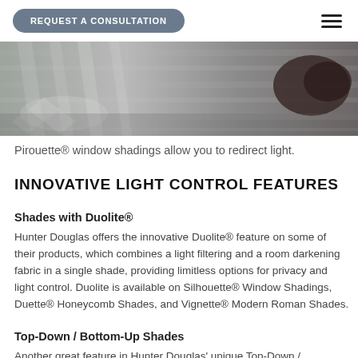REQUEST A CONSULTATION
[Figure (photo): Close-up photo of Pirouette window shadings showing layered fabric vanes with light filtering through, in silver/grey tones.]
Pirouette® window shadings allow you to redirect light.
INNOVATIVE LIGHT CONTROL FEATURES
Shades with Duolite®
Hunter Douglas offers the innovative Duolite® feature on some of their products, which combines a light filtering and a room darkening fabric in a single shade, providing limitless options for privacy and light control. Duolite is available on Silhouette® Window Shadings, Duette® Honeycomb Shades, and Vignette® Modern Roman Shades.
Top-Down / Bottom-Up Shades
Another great feature in Hunter Douglas' unique Top-Down /